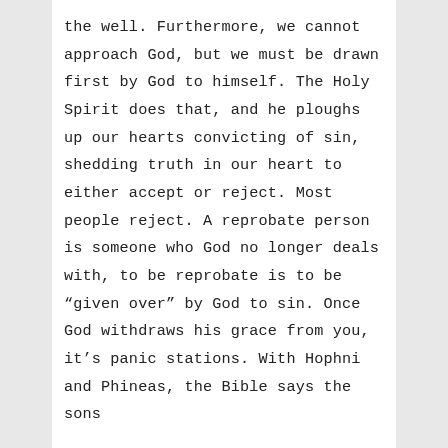the well. Furthermore, we cannot approach God, but we must be drawn first by God to himself. The Holy Spirit does that, and he ploughs up our hearts convicting of sin, shedding truth in our heart to either accept or reject. Most people reject. A reprobate person is someone who God no longer deals with, to be reprobate is to be “given over” by God to sin. Once God withdraws his grace from you, it’s panic stations. With Hophni and Phineas, the Bible says the sons